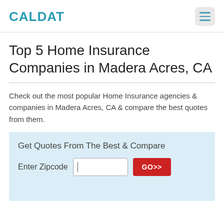CALDAT
Top 5 Home Insurance Companies in Madera Acres, CA
Check out the most popular Home Insurance agencies & companies in Madera Acres, CA & compare the best quotes from them.
Get Quotes From The Best & Compare
Enter Zipcode  [input]  GO>>